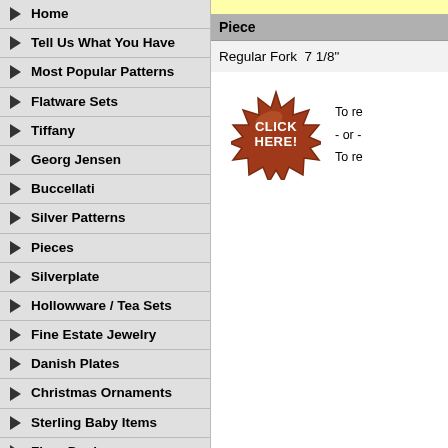Home
Tell Us What You Have
Most Popular Patterns
Flatware Sets
Tiffany
Georg Jensen
Buccellati
Silver Patterns
Pieces
Silverplate
Hollowware / Tea Sets
Fine Estate Jewelry
Danish Plates
Christmas Ornaments
Sterling Baby Items
Flora Danica
Royal Copenhagen China
Polish & Silver Storage
Books
| Piece |
| --- |
| Regular Fork  7 1/8" |
[Figure (other): Red starburst 'CLICK HERE!' badge with text 'To re - or - To re' beside it]